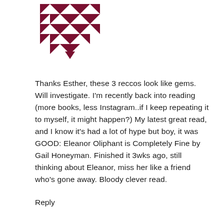[Figure (logo): Dark red/maroon geometric quilt-pattern logo made of triangles arranged in a pinwheel/star pattern]
Thanks Esther, these 3 reccos look like gems. Will investigate. I'm recently back into reading (more books, less Instagram..if I keep repeating it to myself, it might happen?) My latest great read, and I know it's had a lot of hype but boy, it was GOOD: Eleanor Oliphant is Completely Fine by Gail Honeyman. Finished it 3wks ago, still thinking about Eleanor, miss her like a friend who's gone away. Bloody clever read.
Reply